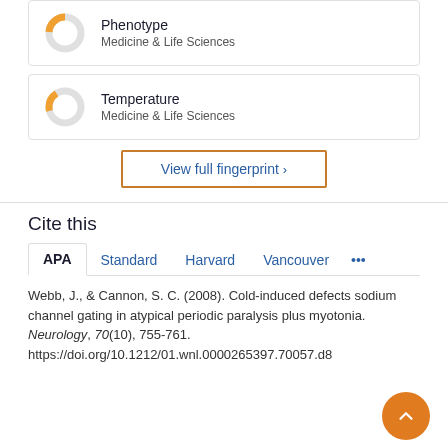[Figure (donut-chart): Donut chart for Phenotype - Medicine & Life Sciences, partially filled orange]
Phenotype
Medicine & Life Sciences
[Figure (donut-chart): Donut chart for Temperature - Medicine & Life Sciences, partially filled orange]
Temperature
Medicine & Life Sciences
View full fingerprint ›
Cite this
APA   Standard   Harvard   Vancouver   ...
Webb, J., & Cannon, S. C. (2008). Cold-induced defects sodium channel gating in atypical periodic paralysis plus myotonia. Neurology, 70(10), 755-761. https://doi.org/10.1212/01.wnl.0000265397.70057.d8